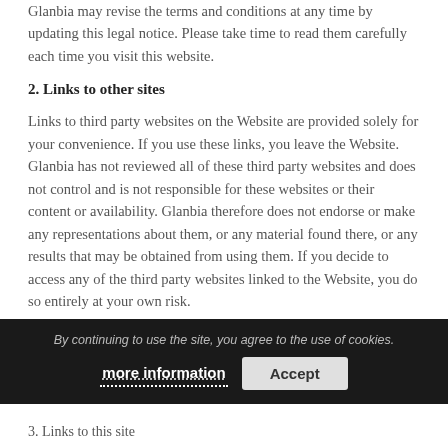Glanbia may revise the terms and conditions at any time by updating this legal notice. Please take time to read them carefully each time you visit this website.
2. Links to other sites
Links to third party websites on the Website are provided solely for your convenience. If you use these links, you leave the Website. Glanbia has not reviewed all of these third party websites and does not control and is not responsible for these websites or their content or availability. Glanbia therefore does not endorse or make any representations about them, or any material found there, or any results that may be obtained from using them. If you decide to access any of the third party websites linked to the Website, you do so entirely at your own risk.
By continuing to use the site, you agree to the use of cookies.
3. Links to this site